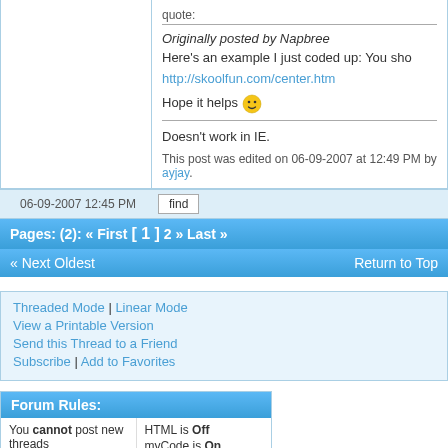quote:
Originally posted by Napbree
Here's an example I just coded up: You sho
http://skoolfun.com/center.htm
Hope it helps
Doesn't work in IE.
This post was edited on 06-09-2007 at 12:49 PM by ayjay.
06-09-2007 12:45 PM
find
Pages: (2): « First [ 1 ] 2 » Last »
« Next Oldest
Return to Top
Threaded Mode | Linear Mode
View a Printable Version
Send this Thread to a Friend
Subscribe | Add to Favorites
Forum Rules:
You cannot post new threads
You cannot post replies
HTML is Off
myCode is On